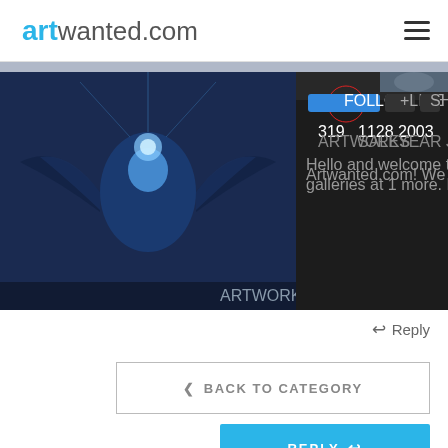artwanted.com
[Figure (screenshot): Screenshot of artwanted.com member portfolio page showing a dark blue digital artwork of a figure with wings, along with profile stats: 319 artworks, 1128 views, 2003 year active, and a highlighted follow/contact button circled in red]
Reply
< BACK TO CATEGORY
REPLY
Member Artwork
[Figure (photo): Thumbnail image of a forested scene with green foliage]